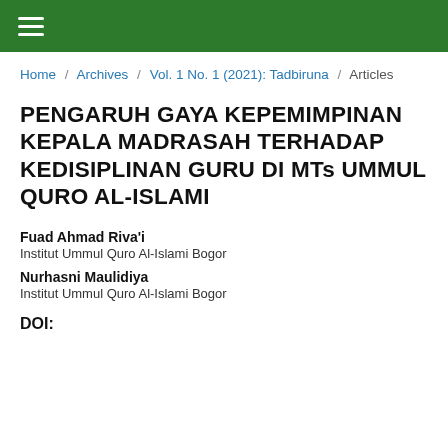≡ [navigation bar]
Home / Archives / Vol. 1 No. 1 (2021): Tadbiruna / Articles
PENGARUH GAYA KEPEMIMPINAN KEPALA MADRASAH TERHADAP KEDISIPLINAN GURU DI MTs UMMUL QURO AL-ISLAMI
Fuad Ahmad Riva'i
Institut Ummul Quro Al-Islami Bogor
Nurhasni Maulidiya
Institut Ummul Quro Al-Islami Bogor
DOI: